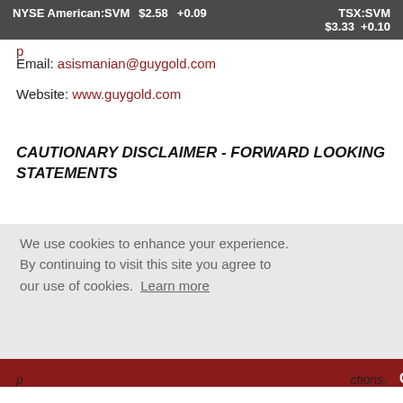NYSE American:SVM $2.58 +0.09   TSX:SVM $3.33 +0.10
Email: asismanian@guygold.com
Website: www.guygold.com
CAUTIONARY DISCLAIMER - FORWARD LOOKING STATEMENTS
We use cookies to enhance your experience. By continuing to visit this site you agree to our use of cookies. Learn more
Got it!